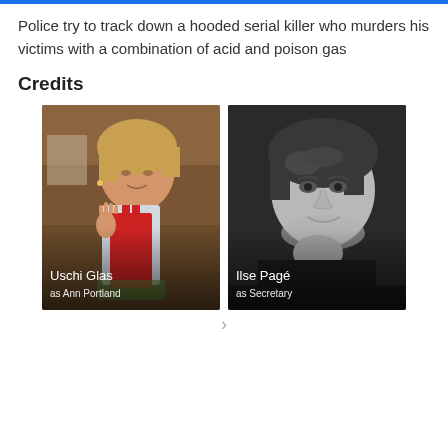Police try to track down a hooded serial killer who murders his victims with a combination of acid and poison gas
Credits
[Figure (photo): Color photo of Uschi Glas wearing a red apron, raising her hand, with text overlay 'Uschi Glas as Ann Portland']
[Figure (photo): Black and white photo of Ilse Pagé smiling, with text overlay 'Ilse Pagé as Secretary']